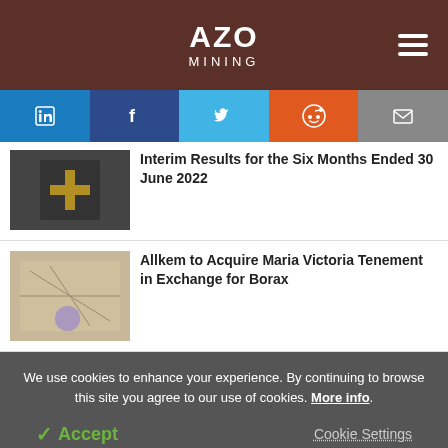AZO MINING
Interim Results for the Six Months Ended 30 June 2022
Allkem to Acquire Maria Victoria Tenement in Exchange for Borax
We use cookies to enhance your experience. By continuing to browse this site you agree to our use of cookies. More info.
✓ Accept   Cookie Settings